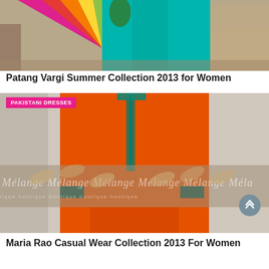[Figure (photo): A woman wearing a colorful kite-patterned dupatta with a teal shalwar kameez, standing outdoors against a sandy wall background.]
Patang Vargi Summer Collection 2013 for Women
[Figure (photo): An orange long kameez/kurti with teal trim and buttons, displayed on a model, with a 'Melange Boutique' watermark overlay. A pink badge reads 'PAKISTANI DRESSES'.]
Maria Rao Casual Wear Collection 2013 For Women